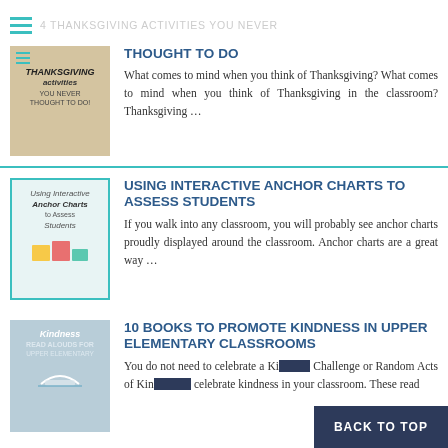4 THANKSGIVING ACTIVITIES YOU NEVER THOUGHT TO DO
[Figure (illustration): Thumbnail image for Thanksgiving activities article, handwritten style text on parchment background]
4 THANKSGIVING ACTIVITIES YOU NEVER THOUGHT TO DO
What comes to mind when you think of Thanksgiving? What comes to mind when you think of Thanksgiving in the classroom? Thanksgiving ...
[Figure (illustration): Thumbnail image for Using Interactive Anchor Charts to Assess Students article]
USING INTERACTIVE ANCHOR CHARTS TO ASSESS STUDENTS
If you walk into any classroom, you will probably see anchor charts proudly displayed around the classroom. Anchor charts are a great way ...
[Figure (illustration): Thumbnail image for Kindness Read Alouds for Upper Elementary article]
10 BOOKS TO PROMOTE KINDNESS IN UPPER ELEMENTARY CLASSROOMS
You do not need to celebrate a Kindness Challenge or Random Acts of Kindness to celebrate kindness in your classroom. These read
BACK TO TOP